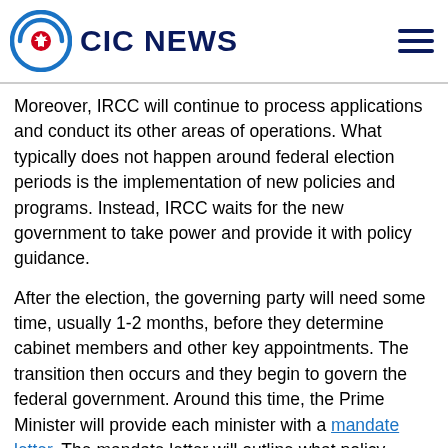CIC NEWS
Moreover, IRCC will continue to process applications and conduct its other areas of operations. What typically does not happen around federal election periods is the implementation of new policies and programs. Instead, IRCC waits for the new government to take power and provide it with policy guidance.
After the election, the governing party will need some time, usually 1-2 months, before they determine cabinet members and other key appointments. The transition then occurs and they begin to govern the federal government. Around this time, the Prime Minister will provide each minister with a mandate letter. The mandate letter will outline what policy priorities each minister, including the immigration minister, is being asked by the Prime Minister to carry out during the new government's time in office. The immigration minister's mandate letter will shape IRCC's priorities, and in turn, have an impact on the provinces, territories, and entire immigration